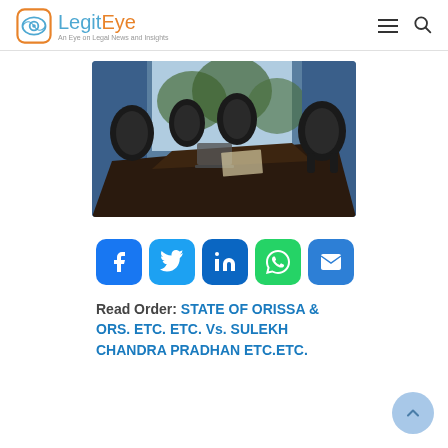LegitEye — An Eye on Legal News and Insights
[Figure (photo): Conference room with dark wooden table and black leather chairs, large windows with trees visible in background]
[Figure (infographic): Social sharing buttons: Facebook, Twitter, LinkedIn, WhatsApp, Email]
Read Order: STATE OF ORISSA & ORS. ETC. ETC. Vs. SULEKH CHANDRA PRADHAN ETC.ETC.